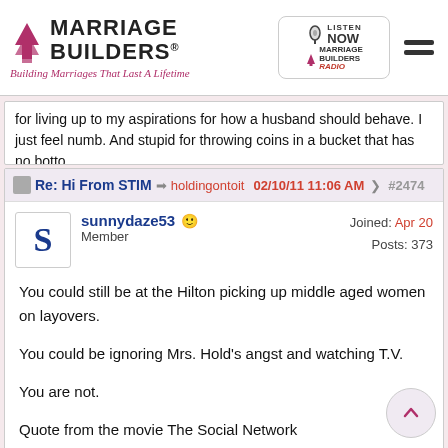[Figure (logo): Marriage Builders logo with two red upward arrows and tagline 'Building Marriages That Last A Lifetime'. Radio button and hamburger menu on the right.]
for living up to my aspirations for how a husband should behave. I just feel numb. And stupid for throwing coins in a bucket that has no botto
Re: Hi From STIM → holdingontoit 02/10/11 11:06 AM < #2474
sunnydaze53 ☺ Member | Joined: Apr 20 Posts: 373
You could still be at the Hilton picking up middle aged women on layovers.

You could be ignoring Mrs. Hold's angst and watching T.V.

You are not.

Quote from the movie The Social Network